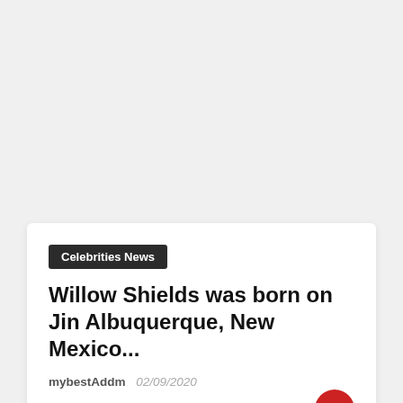Celebrities News
Willow Shields was born on Jin Albuquerque, New Mexico...
mybestAddm  02/09/2020
Information about Celebrities born in 2000...